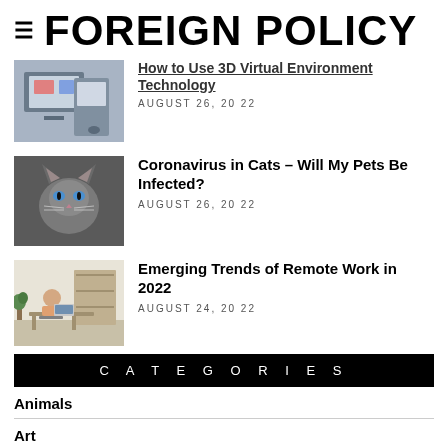FOREIGN POLICY
How to Use 3D Virtual Environment Technology
AUGUST 26, 2022
Coronavirus in Cats – Will My Pets Be Infected?
AUGUST 26, 2022
Emerging Trends of Remote Work in 2022
AUGUST 24, 2022
CATEGORIES
Animals
Art